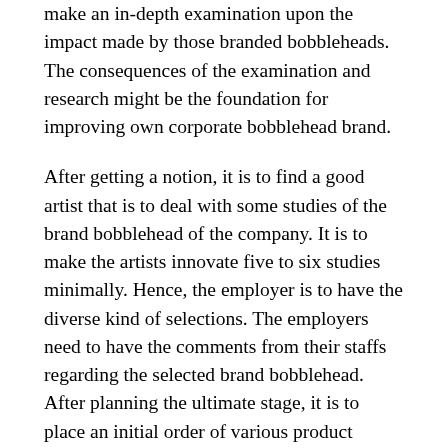make an in-depth examination upon the impact made by those branded bobbleheads. The consequences of the examination and research might be the foundation for improving own corporate bobblehead brand.
After getting a notion, it is to find a good artist that is to deal with some studies of the brand bobblehead of the company. It is to make the artists innovate five to six studies minimally. Hence, the employer is to have the diverse kind of selections. The employers need to have the comments from their staffs regarding the selected brand bobblehead. After planning the ultimate stage, it is to place an initial order of various product branded bobblehead items to the online personalized doll makers. It is to investigate the real items when it comes from the personalized makers. If the employer is satisfied with the ultimate product, then, it becomes the time to make and decide the advertising campaign while applying the bobblehead advertising...